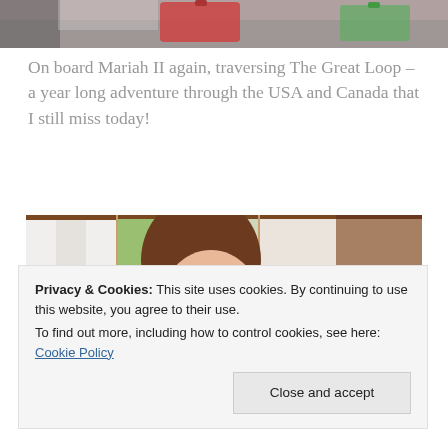[Figure (photo): Partial bottom of a photo showing luggage and colorful items on what appears to be a boat or vehicle interior.]
On board Mariah II again, traversing The Great Loop – a year long adventure through the USA and Canada that I still miss today!
[Figure (photo): A woman with brown hair and glasses smiling in what appears to be the interior of a boat with wooden walls and windows with white curtains.]
Privacy & Cookies: This site uses cookies. By continuing to use this website, you agree to their use.
To find out more, including how to control cookies, see here: Cookie Policy
Close and accept